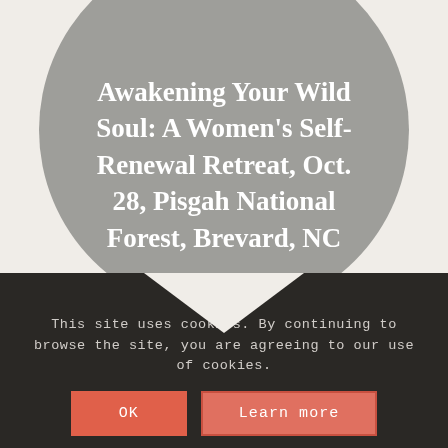Awakening Your Wild Soul: A Women's Self-Renewal Retreat, Oct. 28, Pisgah National Forest, Brevard, NC
This site uses cookies. By continuing to browse the site, you are agreeing to our use of cookies.